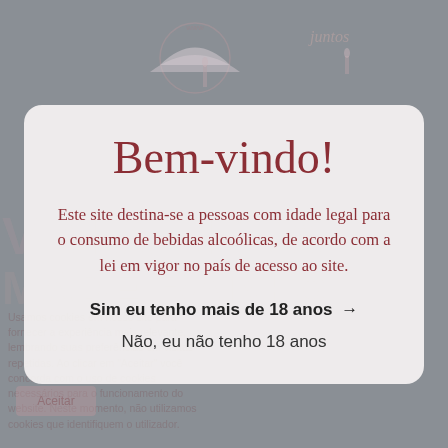[Figure (screenshot): Background of a wine-related website showing faint logo/illustration at top, large watermark letters 'V M A DERA MADEIRAINHO', cookie notice text on the left, and an Aceitar button, all overlaid with a gray semi-transparent overlay.]
Bem-vindo!
Este site destina-se a pessoas com idade legal para o consumo de bebidas alcoólicas, de acordo com a lei em vigor no país de acesso ao site.
Sim eu tenho mais de 18 anos →
Não, eu não tenho 18 anos